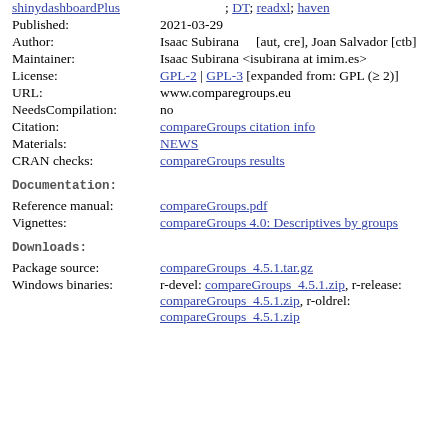shinydashboardPlus; DT; readxl; haven
Published: 2021-03-29
Author: Isaac Subirana [aut, cre], Joan Salvador [ctb]
Maintainer: Isaac Subirana <isubirana at imim.es>
License: GPL-2 | GPL-3 [expanded from: GPL (≥ 2)]
URL: www.comparegroups.eu
NeedsCompilation: no
Citation: compareGroups citation info
Materials: NEWS
CRAN checks: compareGroups results
Documentation:
Reference manual: compareGroups.pdf
Vignettes: compareGroups 4.0: Descriptives by groups
Downloads:
Package source: compareGroups_4.5.1.tar.gz
Windows binaries: r-devel: compareGroups_4.5.1.zip, r-release: compareGroups_4.5.1.zip, r-oldrel: compareGroups_4.5.1.zip